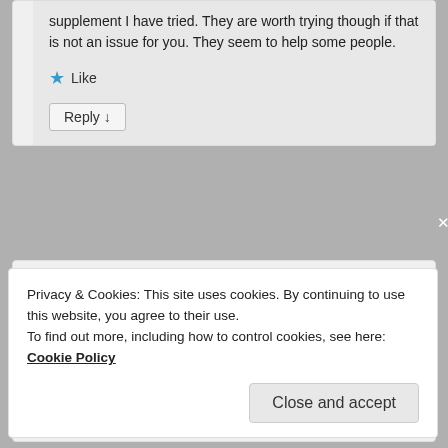supplement I have tried. They are worth trying though if that is not an issue for you. They seem to help some people.
★ Like
Reply ↓
[Figure (illustration): User avatar placeholder — gray rectangle with silhouette of a person (circle head, rounded shoulders)]
Privacy & Cookies: This site uses cookies. By continuing to use this website, you agree to their use.
To find out more, including how to control cookies, see here: Cookie Policy
Close and accept